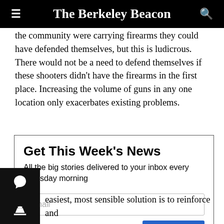The Berkeley Beacon
the community were carrying firearms they could have defended themselves, but this is ludicrous. There would not be a need to defend themselves if these shooters didn't have the firearms in the first place. Increasing the volume of guns in any one location only exacerbates existing problems.
Get This Week's News
All the big stories delivered to your inbox every Thursday morning
easiest, most sensible solution is to reinforce and